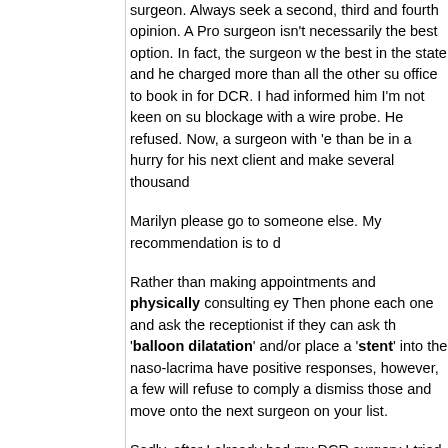surgeon. Always seek a second, third and fourth opinion. A Pro surgeon isn't necessarily the best option. In fact, the surgeon w the best in the state and he charged more than all the other su office to book in for DCR. I had informed him I'm not keen on su blockage with a wire probe. He refused. Now, a surgeon with 'e than be in a hurry for his next client and make several thousand
Marilyn please go to someone else. My recommendation is to d
Rather than making appointments and physically consulting ey Then phone each one and ask the receptionist if they can ask th 'balloon dilatation' and/or place a 'stent' into the naso-lacrima have positive responses, however, a few will refuse to comply a dismiss those and move onto the next surgeon on your list.
Sadly, after I already had my DCR surgery I tried the technique surgeon I rang, whom was on the other side of Australia PREFE indeed would perform what I wanted. But it was too late. So it d
You'll also come across high profile, but horribly arrogant eye su my DCR I drove 8 hours to see yet 'another' occuloplastic surge and air regurgitation from my DCR. He said he could place a 'st